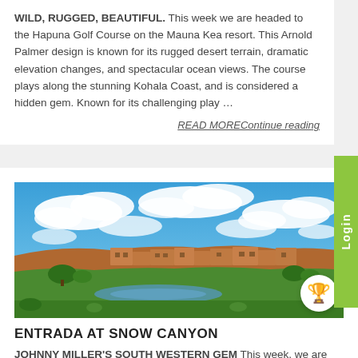WILD, RUGGED, BEAUTIFUL. This week we are headed to the Hapuna Golf Course on the Mauna Kea resort. This Arnold Palmer design is known for its rugged desert terrain, dramatic elevation changes, and spectacular ocean views. The course plays along the stunning Kohala Coast, and is considered a hidden gem. Known for its challenging play …
READ MOREContinue reading
[Figure (photo): Landscape photo of a golf course in a desert/canyon setting with adobe-style buildings, green fairway, and dramatic blue sky with large white clouds.]
ENTRADA AT SNOW CANYON
JOHNNY MILLER'S SOUTH WESTERN GEM This week, we are headed to a stunning course in southern Utah. Welcome to Entrada at Snow Canyon Country Club – a private course located in St. George, Utah. The